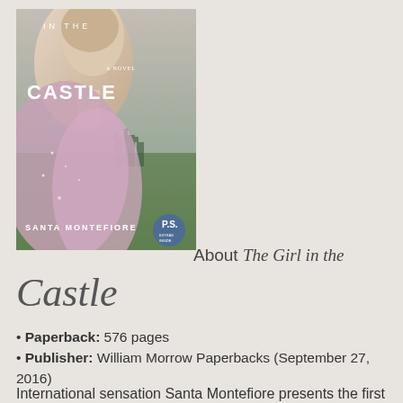[Figure (illustration): Book cover of 'The Girl in the Castle' by Santa Montefiore. Shows a woman's face in profile with text 'IN THE CASTLE', 'A NOVEL', 'SANTA MONTEFIORE', and a P.S. badge. Background shows a castle and greenery.]
About The Girl in the Castle
Paperback: 576 pages
Publisher: William Morrow Paperbacks (September 27, 2016)
International sensation Santa Montefiore presents the first book in a trilogy that follows three Irish women through the decades of the twentieth century—perfect for fans of Kate Morton and Hazel Gaynor.